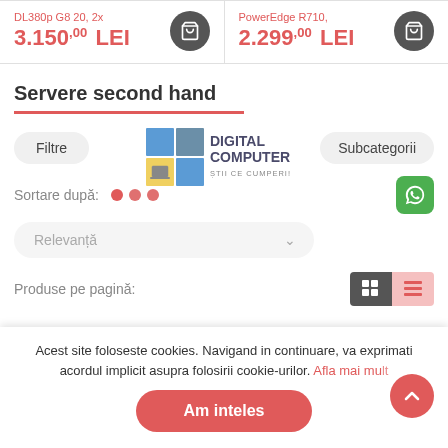3.150,00 LEI | 2.299,00 LEI
Servere second hand
Filtre | Subcategorii
[Figure (logo): Digital Computer logo — colored grid squares with text 'DIGITAL COMPUTER ȘTIce CUMPERI!']
Sortare după:
Relevanță
Produse pe pagină:
Acest site foloseste cookies. Navigand in continuare, va exprimati acordul implicit asupra folosirii cookie-urilor. Afla mai mult
Am inteles